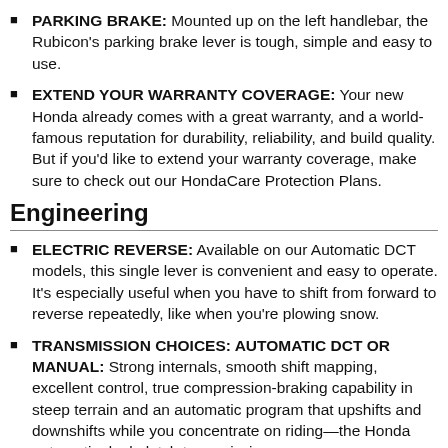PARKING BRAKE: Mounted up on the left handlebar, the Rubicon’s parking brake lever is tough, simple and easy to use.
EXTEND YOUR WARRANTY COVERAGE: Your new Honda already comes with a great warranty, and a world-famous reputation for durability, reliability, and build quality. But if you’d like to extend your warranty coverage, make sure to check out our HondaCare Protection Plans.
Engineering
ELECTRIC REVERSE: Available on our Automatic DCT models, this single lever is convenient and easy to operate. It’s especially useful when you have to shift from forward to reverse repeatedly, like when you’re plowing snow.
TRANSMISSION CHOICES: AUTOMATIC DCT OR MANUAL: Strong internals, smooth shift mapping, excellent control, true compression-braking capability in steep terrain and an automatic program that upshifts and downshifts while you concentrate on riding—the Honda automatic dual-clutch transmission